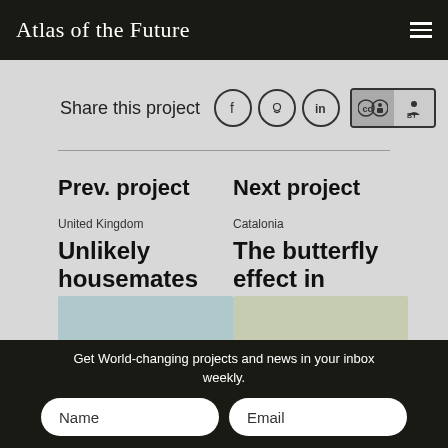Atlas of the Future
Share this project
Prev. project
United Kingdom
Unlikely housemates
Next project
Catalonia
The butterfly effect in
Get World-changing projects and news in your inbox weekly.
Name
Email